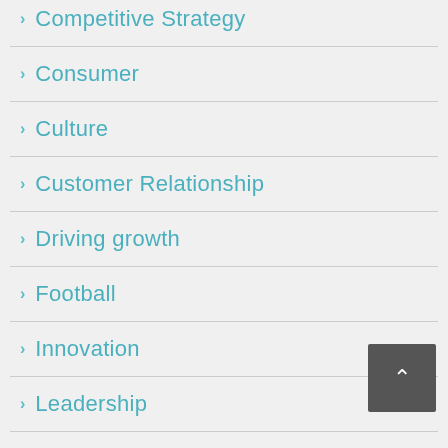Competitive Strategy
Consumer
Culture
Customer Relationship
Driving growth
Football
Innovation
Leadership
Leadership Development